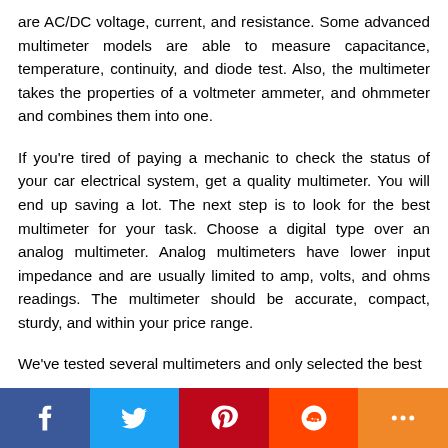are AC/DC voltage, current, and resistance. Some advanced multimeter models are able to measure capacitance, temperature, continuity, and diode test. Also, the multimeter takes the properties of a voltmeter ammeter, and ohmmeter and combines them into one.
If you're tired of paying a mechanic to check the status of your car electrical system, get a quality multimeter. You will end up saving a lot. The next step is to look for the best multimeter for your task. Choose a digital type over an analog multimeter. Analog multimeters have lower input impedance and are usually limited to amp, volts, and ohms readings. The multimeter should be accurate, compact, sturdy, and within your price range.
We've tested several multimeters and only selected the best